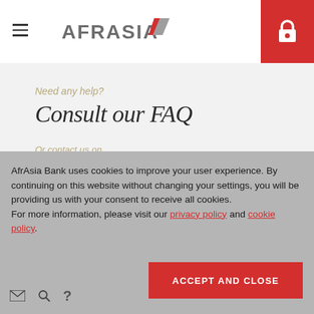[Figure (logo): AfrAsia Bank logo with red and grey chevron mark and text AFRASIA in grey capitals]
Need any help?
Consult our FAQ
Or contact us on
+230 208 5500 or
AfrAsia Bank uses cookies to improve your user experience. By continuing on this website without changing your settings, you will be providing us with your consent to receive all cookies. For more information, please visit our privacy policy and cookie policy.
ACCEPT AND CLOSE